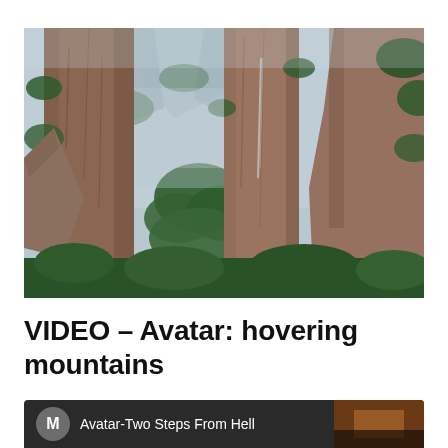[Figure (photo): Tall dramatic sandstone rock pillars rising vertically, covered with green vegetation, surrounded by lush green forested canyon — landscape resembling the floating mountains from the movie Avatar. Located in Zhangjiajie, China.]
VIDEO – Avatar: hovering mountains
[Figure (screenshot): Video player strip showing a dark background with a grey circular avatar icon with letter M, the title 'Avatar-Two Steps From Hell', and a vertical dots menu icon on the right. Partial video thumbnail visible on the right side.]